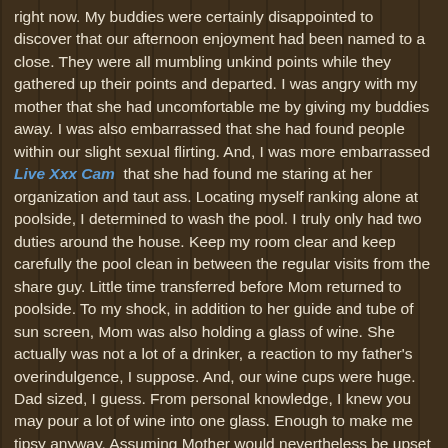right now. My buddies were certainly disappointed to discover that our afternoon enjoyment had been named to a close. They were all mumbling unkind points while they gathered up their points and departed. I was angry with my mother that she had uncomfortable me by giving my buddies away. I was also embarrassed that she had found people within our slight sexual flirting. And, I was more embarrassed Live Xxx Cam that she had found me staring at her organization and taut ass. Locating myself ranking alone at poolside, I determined to wash the pool. I truly only had two duties around the house. Keep my room clear and keep carefully the pool clean in between the regular visits from the share guy. Little time transferred before Mom returned to poolside. To my shock, in addition to her guide and tube of sun screen, Mom was also holding a glass of wine. She actually was not a lot of a drinker, a reaction to my father's overindulgence, I suppose. And, our wine cups were huge. Dad sized, I guess. From personal knowledge, I knew you may pour a lot of wine into one glass. Enough to make me tipsy anyway. Assuming Mother would nevertheless be upset with me, I used myself to washing the pool really energetically. Obviously, I took looks at my mom sleeping on